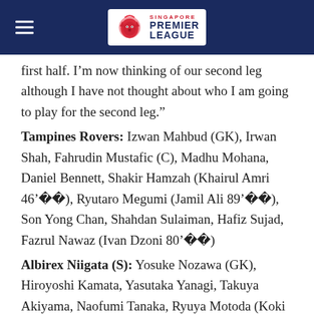Singapore Premier League
first half. I’m now thinking of our second leg although I have not thought about who I am going to play for the second leg.”
Tampines Rovers: Izwan Mahbud (GK), Irwan Shah, Fahrudin Mustafic (C), Madhu Mohana, Daniel Bennett, Shakir Hamzah (Khairul Amri 46’), Ryutaro Megumi (Jamil Ali 89’), Son Yong Chan, Shahdan Sulaiman, Hafiz Sujad, Fazrul Nawaz (Ivan Dzoni 80’)
Albirex Niigata (S): Yosuke Nozawa (GK), Hiroyoshi Kamata, Yasutaka Yanagi, Takuya Akiyama, Naofumi Tanaka, Ryuya Motoda (Koki Sato 77’), Shuto Inaba (C), Rui Kumada, Kento Nagasaki (Kenya Kodama